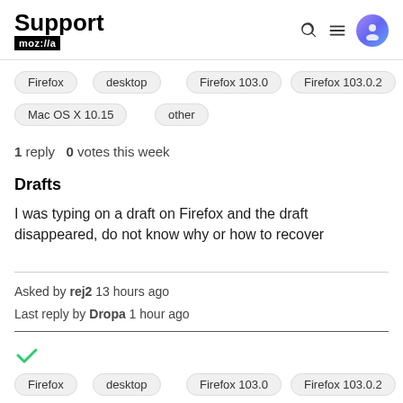Support moz://a
Firefox
desktop
Firefox 103.0
Firefox 103.0.2
Mac OS X 10.15
other
1 reply   0 votes this week
Drafts
I was typing on a draft on Firefox and the draft disappeared, do not know why or how to recover
Asked by rej2 13 hours ago
Last reply by Dropa 1 hour ago
[Figure (other): Green checkmark icon indicating resolved/answered]
Firefox
desktop
Firefox 103.0
Firefox 103.0.2